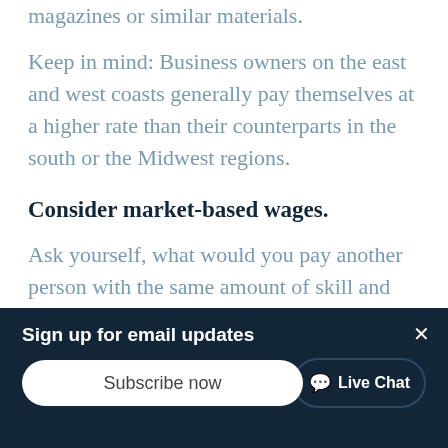magazines or similar materials.
Keep in mind: Business owners on the east and west coasts generally pay themselves at a higher rate than their counterparts in the south or the Midwest regions.
Consider market-based wages.
Ask yourself, what would you pay another person with the same amount of skill and experience you possess? Other relevant factors include range of expertise, business contacts and overall scope of
[Figure (screenshot): Dark navy banner overlay with 'Sign up for email updates' title, a white rounded Subscribe now input/button, a close X button, and a Live Chat button in the bottom right corner.]